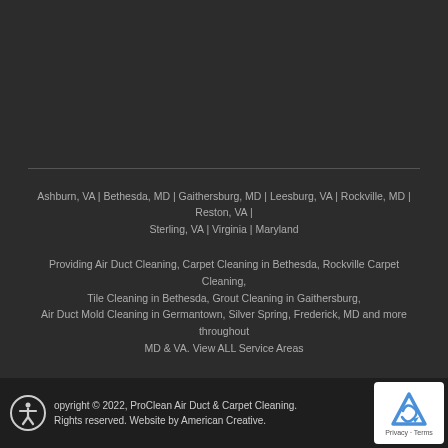Ashburn, VA | Bethesda, MD | Gaithersburg, MD | Leesburg, VA | Rockville, MD | Reston, VA | Sterling, VA | Virginia | Maryland
Providing Air Duct Cleaning, Carpet Cleaning in Bethesda, Rockville Carpet Cleaning, Tile Cleaning in Bethesda, Grout Cleaning in Gaithersburg, Air Duct Mold Cleaning in Germantown, Silver Spring, Frederick, MD and more throughout MD & VA. View ALL Service Areas
Copyright © 2022, ProClean Air Duct & Carpet Cleaning. All Rights reserved. Website by American Creative.